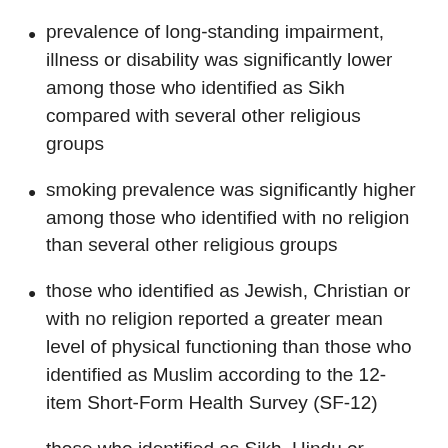prevalence of long-standing impairment, illness or disability was significantly lower among those who identified as Sikh compared with several other religious groups
smoking prevalence was significantly higher among those who identified with no religion than several other religious groups
those who identified as Jewish, Christian or with no religion reported a greater mean level of physical functioning than those who identified as Muslim according to the 12-item Short-Form Health Survey (SF-12)
those who identified as Sikh, Hindu or Christian